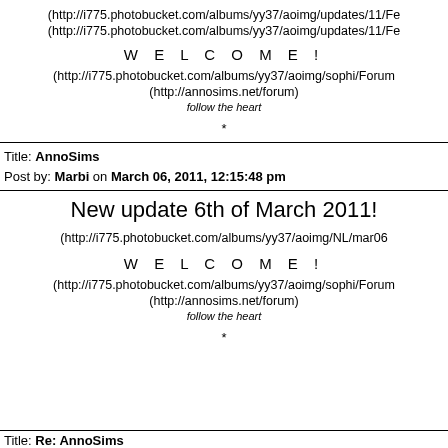(http://i775.photobucket.com/albums/yy37/aoimg/updates/11/Fe
(http://i775.photobucket.com/albums/yy37/aoimg/updates/11/Fe
W E L C O M E !
(http://i775.photobucket.com/albums/yy37/aoimg/sophi/Forum
(http://annosims.net/forum)
follow the heart
*
Title: AnnoSims
Post by: Marbi on March 06, 2011, 12:15:48 pm
New update 6th of March 2011!
(http://i775.photobucket.com/albums/yy37/aoimg/NL/mar06
W E L C O M E !
(http://i775.photobucket.com/albums/yy37/aoimg/sophi/Forum
(http://annosims.net/forum)
follow the heart
*
Title: Re: AnnoSims